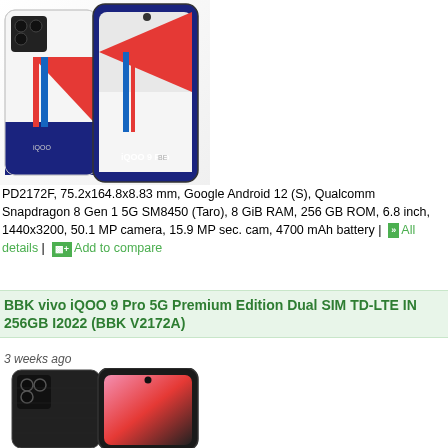[Figure (photo): Back view of iQOO 9 Pro smartphone in white/red/blue colorway with iQOO branding, shown from two angles]
PD2172F, 75.2x164.8x8.83 mm, Google Android 12 (S), Qualcomm Snapdragon 8 Gen 1 5G SM8450 (Taro), 8 GiB RAM, 256 GB ROM, 6.8 inch, 1440x3200, 50.1 MP camera, 15.9 MP sec. cam, 4700 mAh battery | All details | Add to compare
BBK vivo iQOO 9 Pro 5G Premium Edition Dual SIM TD-LTE IN 256GB I2022 (BBK V2172A)
3 weeks ago
[Figure (photo): Back view of iQOO 9 Pro Premium Edition smartphone in black colorway with red accent, shown from two angles]